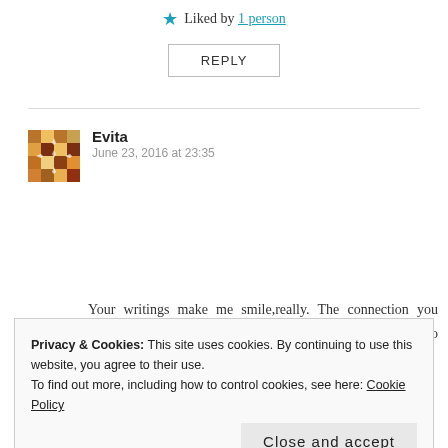★ Liked by 1 person
REPLY
Evita
June 23, 2016 at 23:35
Your writings make me smile,really. The connection you made between life and sewing is outstanding and so insightful. Thanks for sharing.
Privacy & Cookies: This site uses cookies. By continuing to use this website, you agree to their use.
To find out more, including how to control cookies, see here: Cookie Policy
Close and accept